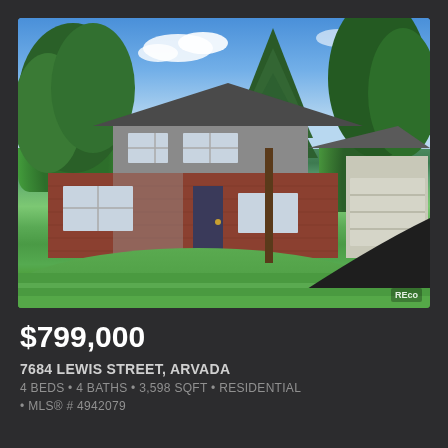[Figure (photo): Exterior photo of a two-story brick and gray siding residential home with attached garage, large trees, green lawn, and curved dark mulch path. A 'REco' watermark appears in the bottom right corner.]
$799,000
7684 LEWIS STREET, ARVADA
4 BEDS • 4 BATHS • 3,598 SQFT • RESIDENTIAL
• MLS® # 4942079